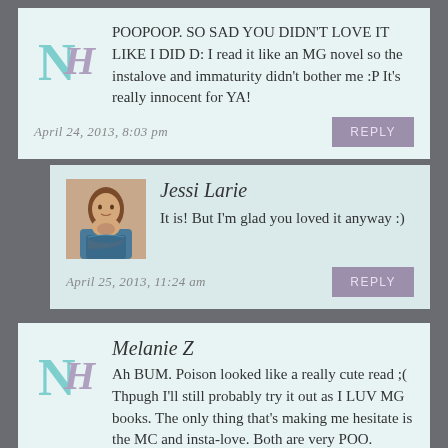POOPOOP. SO SAD YOU DIDN'T LOVE IT LIKE I DID D: I read it like an MG novel so the instalove and immaturity didn't bother me :P It's really innocent for YA!
April 24, 2013, 8:03 pm
REPLY
Jessi Larie
It is! But I'm glad you loved it anyway :)
April 25, 2013, 11:24 am
REPLY
Melanie Z
Ah BUM. Poison looked like a really cute read ;( Thpugh I'll still probably try it out as I LUV MG books. The only thing that's making me hesitate is the MC and insta-love. Both are very POO.
Well written review, Jessi! It's sad to see you not like this,